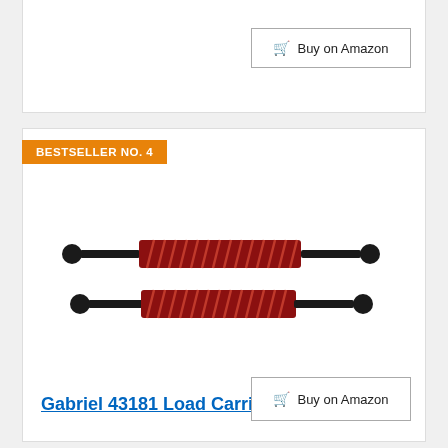Buy on Amazon
BESTSELLER NO. 4
[Figure (photo): Two red and black coilover shock absorbers shown side by side horizontally]
Gabriel 43181 Load Carrier
$97.49
Prime
Buy on Amazon